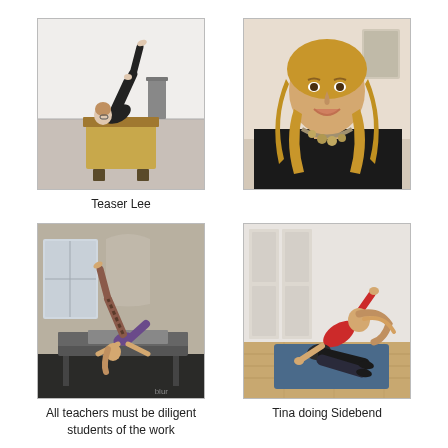[Figure (photo): Woman performing a Teaser exercise on a Pilates Wunda Chair, lying back with legs raised high in a fitness studio]
[Figure (photo): Smiling woman with long blonde hair wearing a dark top and statement necklace, portrait photo]
Teaser Lee
[Figure (photo): Person performing an acrobatic Pilates pose on a reformer machine, with one leg raised high in an artistic studio space]
[Figure (photo): Woman in red top doing a sidebend yoga/Pilates pose on a blue mat on a wooden floor]
All teachers must be diligent students of the work
Tina doing Sidebend